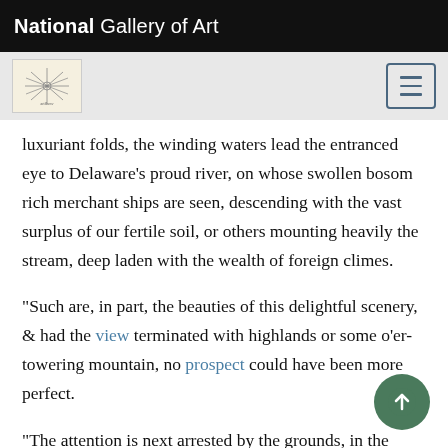National Gallery of Art
luxuriant folds, the winding waters lead the entranced eye to Delaware's proud river, on whose swollen bosom rich merchant ships are seen, descending with the vast surplus of our fertile soil, or others mounting heavily the stream, deep laden with the wealth of foreign climes.
"Such are, in part, the beauties of this delightful scenery, & had the view terminated with highlands or some o'er-towering mountain, no prospect could have been more perfect.
"The attention is next arrested by the grounds, in the